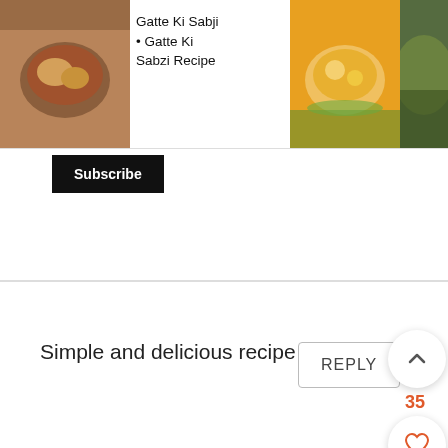[Figure (screenshot): Recipe thumbnail strip at the top showing food images: Gatte Ki Sabji, Aloo Ki Sabzi Recipe, Baingan Ki Sookhi Sabzi]
Gatte Ki Sabji • Gatte Ki Sabzi Recipe
Aloo Ki Sabzi Recipe
Baingan Ki Sookhi Sal...
Subscribe
Simple and delicious recipe
REPLY
35
rekhas kitchen
Simple and delicious recipe
X